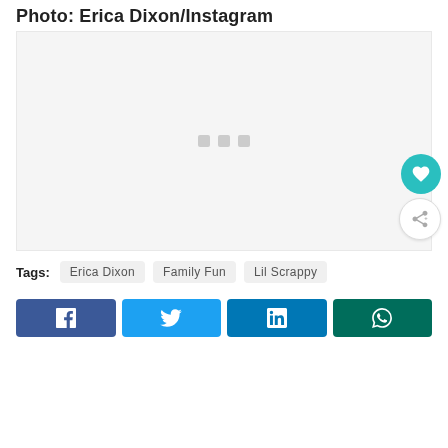Photo: Erica Dixon/Instagram
[Figure (photo): Placeholder image area with loading dots indicator, showing a light gray background with three small gray squares in the center. Two circular action buttons (heart/favorite and share) appear on the right side.]
Tags: Erica Dixon  Family Fun  Lil Scrappy
[Figure (infographic): Social sharing buttons row: Facebook (blue), Twitter (light blue), LinkedIn (dark blue), WhatsApp (dark teal)]